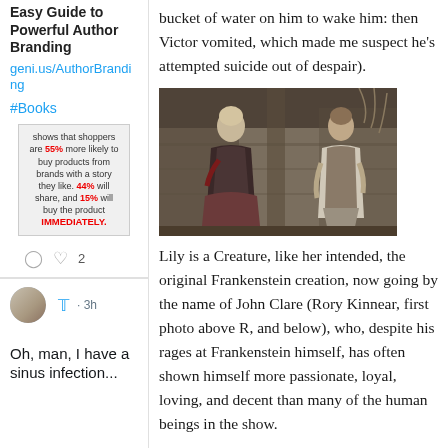Easy Guide to Powerful Author Branding
geni.us/AuthorBranding
#Books
[Figure (infographic): Advertisement infographic: shows that shoppers are 55% more likely to buy products from brands with a story they like. 44% will share, and 15% will buy the product IMMEDIATELY.]
♡ 2
Oh, man, I have a sinus infection...
bucket of water on him to wake him: then Victor vomited, which made me suspect he's attempted suicide out of despair).
[Figure (photo): A woman in a dark Victorian-style dress stands facing a man in period working clothes in what appears to be a dimly lit stone building set.]
Lily is a Creature, like her intended, the original Frankenstein creation, now going by the name of John Clare (Rory Kinnear, first photo above R, and below), who, despite his rages at Frankenstein himself, has often shown himself more passionate, loyal, loving, and decent than many of the human beings in the show.